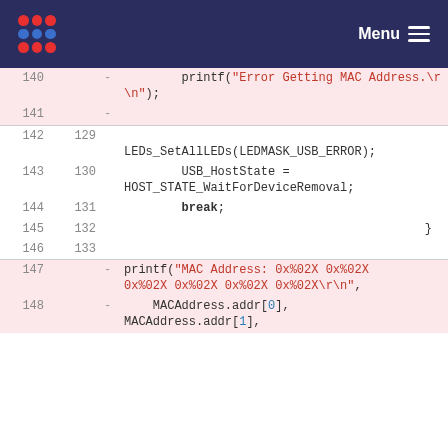Menu
140  -  printf("Error Getting MAC Address.\r\n");
141  -
142  129  LEDs_SetAllLEDs(LEDMASK_USB_ERROR);
143  130  USB_HostState = HOST_STATE_WaitForDeviceRemoval;
144  131  break;
145  132  }
146  133
147  -  printf("MAC Address: 0x%02X 0x%02X 0x%02X 0x%02X 0x%02X 0x%02X\r\n",
148  -  MACAddress.addr[0], MACAddress.addr[1],